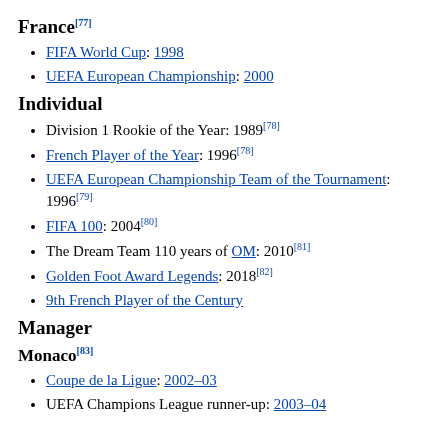France[77]
FIFA World Cup: 1998
UEFA European Championship: 2000
Individual
Division 1 Rookie of the Year: 1989[78]
French Player of the Year: 1996[78]
UEFA European Championship Team of the Tournament: 1996[79]
FIFA 100: 2004[80]
The Dream Team 110 years of OM: 2010[81]
Golden Foot Award Legends: 2018[82]
9th French Player of the Century
Manager
Monaco[83]
Coupe de la Ligue: 2002–03
UEFA Champions League runner-up: 2003–04